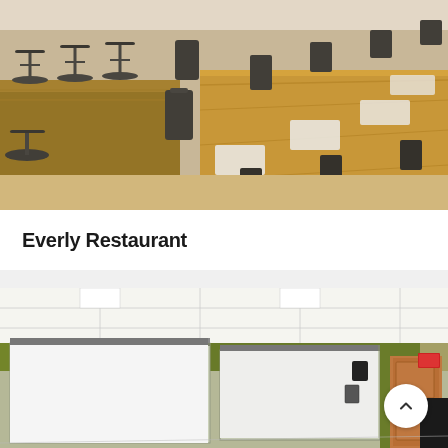[Figure (photo): Interior photo of Everly Restaurant showing wooden bar stools along a bar counter on the left, and a long wooden dining table set with black chairs, white napkins, and place settings running into the background.]
Everly Restaurant
[Figure (photo): Interior photo of a meeting or conference room with a drop ceiling, green accent walls, a wooden door, projection screen on the left, a second white screen in the center, a speaker mounted on the wall, a red exit sign, and a back-to-top circular button overlay in the bottom right.]